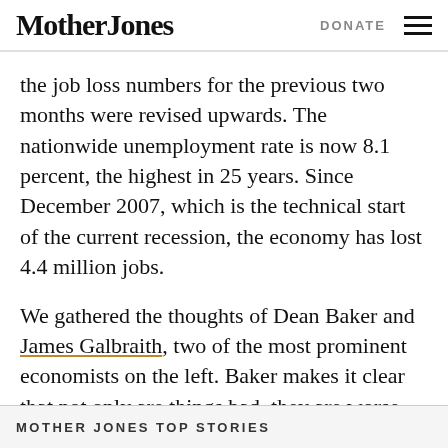Mother Jones | DONATE
the job loss numbers for the previous two months were revised upwards. The nationwide unemployment rate is now 8.1 percent, the highest in 25 years. Since December 2007, which is the technical start of the current recession, the economy has lost 4.4 million jobs.
We gathered the thoughts of Dean Baker and James Galbraith, two of the most prominent economists on the left. Baker makes it clear that not only are things bad, they are worse than expected:
MOTHER JONES TOP STORIES